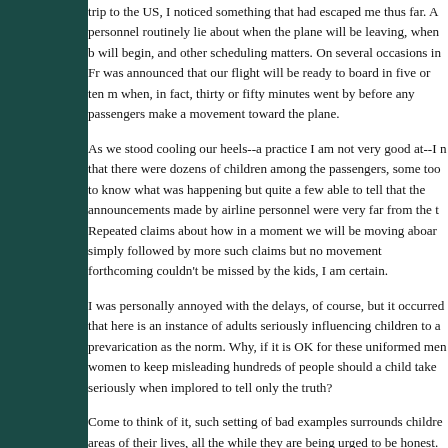Anyway, as I was standing around in Frankfurt some days ago, on a trip to the US, I noticed something that had escaped me thus far. Airline personnel routinely lie about when the plane will be leaving, when boarding will begin, and other scheduling matters. On several occasions in Frankfurt it was announced that our flight will be ready to board in five or ten minutes, when, in fact, thirty or fifty minutes went by before any passengers could make a movement toward the plane.
As we stood cooling our heels--a practice I am not very good at--I noticed that there were dozens of children among the passengers, some too young to know what was happening but quite a few able to tell that the announcements made by airline personnel were very far from the truth. Repeated claims about how in a moment we will be moving aboard were simply followed by more such claims but no movement forthcoming. This couldn't be missed by the kids, I am certain.
I was personally annoyed with the delays, of course, but it occurred to me that here is an instance of adults seriously influencing children to accept prevarication as the norm. Why, if it is OK for these uniformed men and women to keep misleading hundreds of people should a child take parents seriously when implored to tell only the truth?
Come to think of it, such setting of bad examples surrounds children in all areas of their lives, all the while they are being urged to be honest. Doctors order them to come to their offices at a given time only to make them